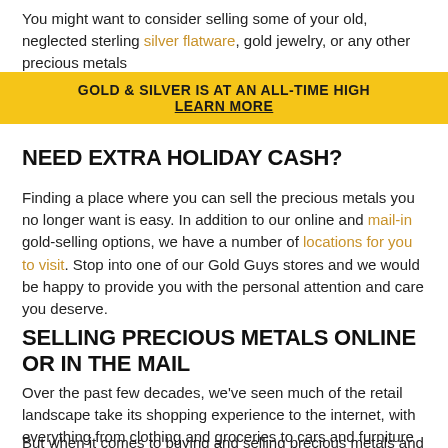You might want to consider selling some of your old, neglected sterling silver flatware, gold jewelry, or any other precious metals
[Figure (infographic): Gold banner advertisement: 'GOLD & SILVER IS AT AN ALL-TIME HIGH' and 'LEARN MORE' in bold black text on yellow/gold background]
NEED EXTRA HOLIDAY CASH?
Finding a place where you can sell the precious metals you no longer want is easy. In addition to our online and mail-in gold-selling options, we have a number of locations for you to visit. Stop into one of our Gold Guys stores and we would be happy to provide you with the personal attention and care you deserve.
SELLING PRECIOUS METALS ONLINE OR IN THE MAIL
Over the past few decades, we've seen much of the retail landscape take its shopping experience to the internet, with everything from clothing and groceries to cars and furniture now being bought and sold online around the world every day.
But when it comes to buying and selling precious metals and jewelry, we are often found doing it in the online space and...